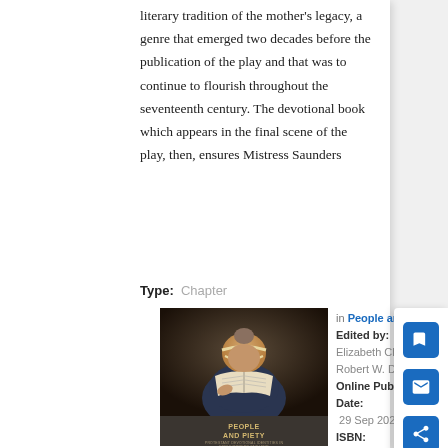literary tradition of the mother's legacy, a genre that emerged two decades before the publication of the play and that was to continue to flourish throughout the seventeenth century. The devotional book which appears in the final scene of the play, then, ensures Mistress Saunders
Type:  Chapter
[Figure (photo): Book cover of 'People and Piety' showing a woman reading a book, with the title in gold text on a dark background]
in People and piety
Edited by:  Elizabeth Clarke and Robert W. Daniel
Online Publication Date:  29 Sep 2020
ISBN:  9781526150134